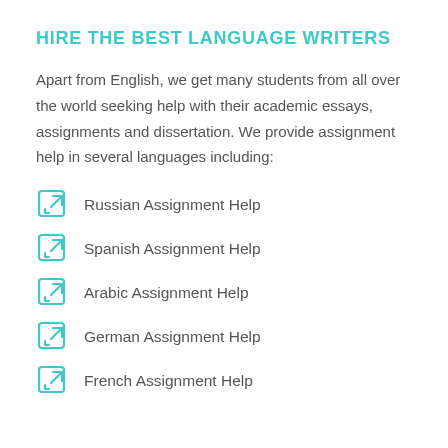HIRE THE BEST LANGUAGE WRITERS
Apart from English, we get many students from all over the world seeking help with their academic essays, assignments and dissertation. We provide assignment help in several languages including:
Russian Assignment Help
Spanish Assignment Help
Arabic Assignment Help
German Assignment Help
French Assignment Help